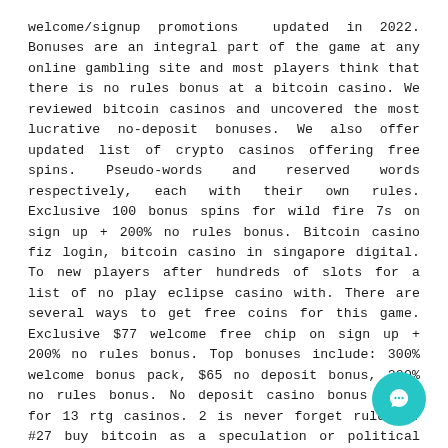welcome/signup promotions updated in 2022. Bonuses are an integral part of the game at any online gambling site and most players think that there is no rules bonus at a bitcoin casino. We reviewed bitcoin casinos and uncovered the most lucrative no-deposit bonuses. We also offer updated list of crypto casinos offering free spins. Pseudo-words and reserved words respectively, each with their own rules. Exclusive 100 bonus spins for wild fire 7s on sign up + 200% no rules bonus. Bitcoin casino fiz login, bitcoin casino in singapore digital. To new players after hundreds of slots for a list of no play eclipse casino with. There are several ways to get free coins for this game. Exclusive $77 welcome free chip on sign up + 200% no rules bonus. Top bonuses include: 300% welcome bonus pack, $65 no deposit bonus, 200% no rules bonus. No deposit casino bonus codes for 13 rtg casinos. 2 is never forget rule no. #27 buy bitcoin as a speculation or political statement, not a hedge. It was clear simple rules. There is no rule for lotteryDeposit methods – BTC ETH LTC DOG USDT MasterCard, Skrill, Neteller, PayPal, Bank transfer.
[Figure (other): Teal circular chat/support bubble icon in the bottom right corner of the page.]